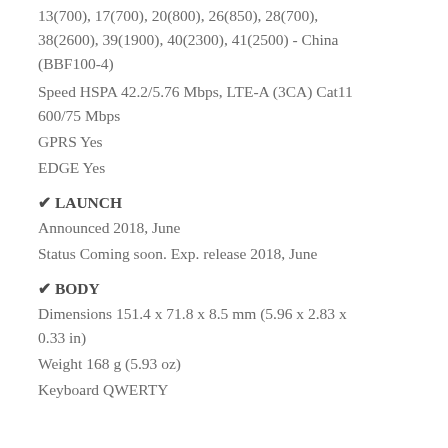13(700), 17(700), 20(800), 26(850), 28(700), 38(2600), 39(1900), 40(2300), 41(2500) - China (BBF100-4)
Speed HSPA 42.2/5.76 Mbps, LTE-A (3CA) Cat11 600/75 Mbps
GPRS Yes
EDGE Yes
✔ LAUNCH
Announced 2018, June
Status Coming soon. Exp. release 2018, June
✔ BODY
Dimensions 151.4 x 71.8 x 8.5 mm (5.96 x 2.83 x 0.33 in)
Weight 168 g (5.93 oz)
Keyboard QWERTY